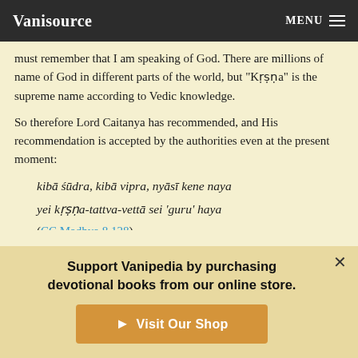Vanisource   MENU
must remember that I am speaking of God. There are millions of name of God in different parts of the world, but "Kṛṣṇa" is the supreme name according to Vedic knowledge.
So therefore Lord Caitanya has recommended, and His recommendation is accepted by the authorities even at the present moment:
kibā śūdra, kibā vipra, nyāsī kene naya
yei kṛṣṇa-tattva-vettā sei 'guru' haya
(CC Madhya 8.128)
Support Vanipedia by purchasing devotional books from our online store.
Visit Our Shop